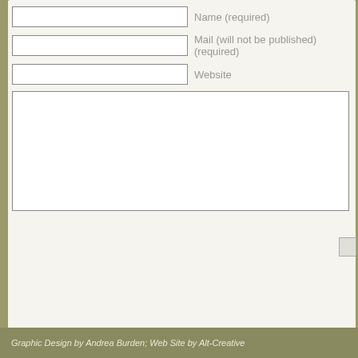[Figure (screenshot): Web contact form with torn paper background on olive/khaki background. Contains three text input fields labeled Name (required), Mail (will not be published) (required), and Website, plus a large textarea for comment, and a partially visible submit button at the right edge.]
Graphic Design by Andrea Burden; Web Site by Alt-Creative